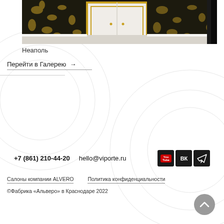[Figure (photo): Interior photo showing an elegant hallway/foyer with dark ornate wallpaper with gold floral patterns, white double doors with gold frame, and marble-like light gray floor tile.]
Неаполь
Перейти в Галерею →
+7 (861) 210-44-20
hello@viporte.ru
[Figure (logo): Social media icons: YouTube, VK, Telegram on dark square backgrounds]
Салоны компании ALVERO
Политика конфиденциальности
©Фабрика «Альверо» в Краснодаре 2022